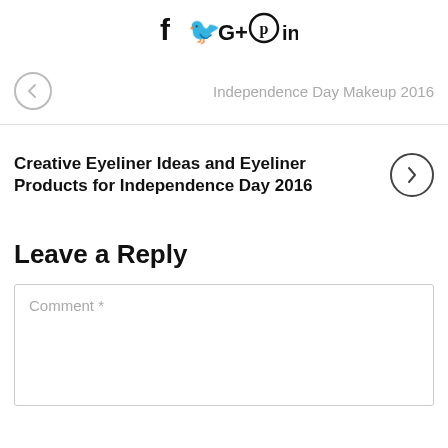[Figure (other): Social media sharing icons: Facebook (f), Twitter (bird), Google+ (G+), Pinterest (p circle), LinkedIn (in)]
Independence Day Makeup 2016
Creative Eyeliner Ideas and Eyeliner Products for Independence Day 2016
Leave a Reply
Comment *